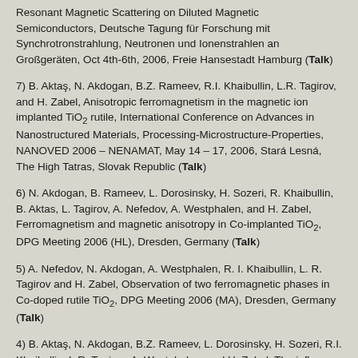Resonant Magnetic Scattering on Diluted Magnetic Semiconductors, Deutsche Tagung für Forschung mit Synchrotronstrahlung, Neutronen und Ionenstrahlen an Großgeräten, Oct 4th-6th, 2006, Freie Hansestadt Hamburg (Talk)
7) B. Aktaş, N. Akdogan, B.Z. Rameev, R.I. Khaibullin, L.R. Tagirov, and H. Zabel, Anisotropic ferromagnetism in the magnetic ion implanted TiO2 rutile, International Conference on Advances in Nanostructured Materials, Processing-Microstructure-Properties, NANOVED 2006 – NENAMAT, May 14 – 17, 2006, Stará Lesná, The High Tatras, Slovak Republic (Talk)
6) N. Akdogan, B. Rameev, L. Dorosinsky, H. Sozeri, R. Khaibullin, B. Aktas, L. Tagirov, A. Nefedov, A. Westphalen, and H. Zabel, Ferromagnetism and magnetic anisotropy in Co-implanted TiO2, DPG Meeting 2006 (HL), Dresden, Germany (Talk)
5) A. Nefedov, N. Akdogan, A. Westphalen, R. I. Khaibullin, L. R. Tagirov and H. Zabel, Observation of two ferromagnetic phases in Co-doped rutile TiO2, DPG Meeting 2006 (MA), Dresden, Germany (Talk)
4) B. Aktaş, N. Akdogan, B.Z. Rameev, L. Dorosinsky, H. Sozeri, R.I. Khaibullin, L.R. Tagirov, A. Westphalen, and H. Zabel, The influence of crystallographic